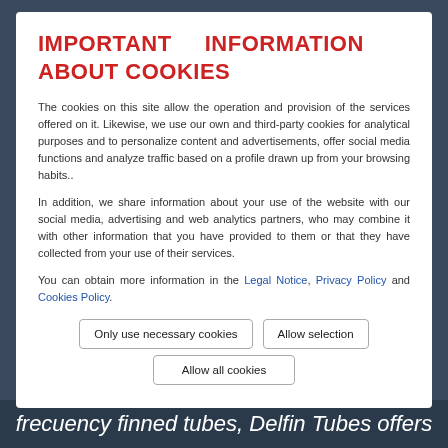IMPORTANT INFORMATION ABOUT COOKIES
The cookies on this site allow the operation and provision of the services offered on it. Likewise, we use our own and third-party cookies for analytical purposes and to personalize content and advertisements, offer social media functions and analyze traffic based on a profile drawn up from your browsing habits..
In addition, we share information about your use of the website with our social media, advertising and web analytics partners, who may combine it with other information that you have provided to them or that they have collected from your use of their services.
You can obtain more information in the Legal Notice, Privacy Policy and Cookies Policy.
Only use necessary cookies
Allow selection
Allow all cookies
frecuency finned tubes, Delfin Tubes offers